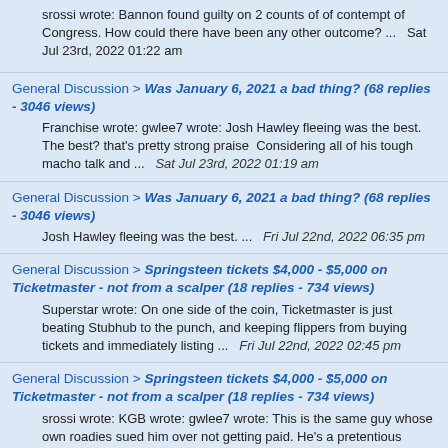srossi wrote: Bannon found guilty on 2 counts of of contempt of Congress. How could there have been any other outcome? ...  Sat Jul 23rd, 2022 01:22 am
General Discussion > Was January 6, 2021 a bad thing? (68 replies - 3046 views)
Franchise wrote: gwlee7 wrote: Josh Hawley fleeing was the best. The best? that's pretty strong praise  Considering all of his tough macho talk and ...   Sat Jul 23rd, 2022 01:19 am
General Discussion > Was January 6, 2021 a bad thing? (68 replies - 3046 views)
Josh Hawley fleeing was the best. ...   Fri Jul 22nd, 2022 06:35 pm
General Discussion > Springsteen tickets $4,000 - $5,000 on Ticketmaster - not from a scalper (18 replies - 734 views)
Superstar wrote: On one side of the coin, Ticketmaster is just beating Stubhub to the punch, and keeping flippers from buying tickets and immediately listing ...   Fri Jul 22nd, 2022 02:45 pm
General Discussion > Springsteen tickets $4,000 - $5,000 on Ticketmaster - not from a scalper (18 replies - 734 views)
srossi wrote: KGB wrote: gwlee7 wrote: This is the same guy whose own roadies sued him over not getting paid. He's a pretentious fuck.And ...   Fri Jul 22nd, 2022 02:41 pm
General Discussion > MEGA MILLIONS $BILLION JACKPOT (38 replies - 1627 views)
Me if I win: https://youtu.be/QGdw5GZigpo ...   Fri Jul 22nd, 2022 11:52 am
General Discussion > Springsteen tickets $4,000 - $5,000 on Ticketmaster - not from a scalper (18 replies - 734 views)
This is the same guy whose own roadies sued him over not getting paid. He is a